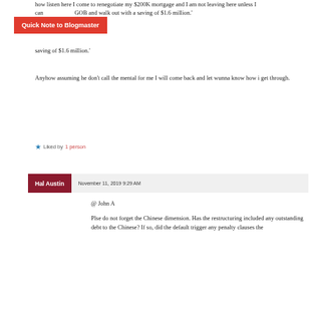how listen here I come to renegotiate my $200K mortgage and I am not leaving here unless I can [GOB] and walk out with a saving of $1.6 million.'
Quick Note to Blogmaster
Anyhow assuming he don't call the mental for me I will come back and let wunna know how i get through.
Liked by 1 person
Hal Austin  November 11, 2019 9:29 AM
@ John A
Plse do not forget the Chinese dimension. Has the restructuring included any outstanding debt to the Chinese? If so, did the default trigger any penalty clauses the